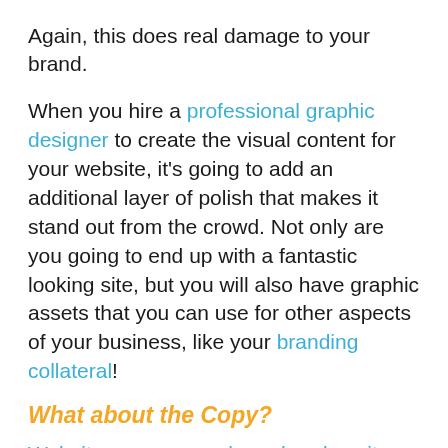Again, this does real damage to your brand.
When you hire a professional graphic designer to create the visual content for your website, it's going to add an additional layer of polish that makes it stand out from the crowd. Not only are you going to end up with a fantastic looking site, but you will also have graphic assets that you can use for other aspects of your business, like your branding collateral!
What about the Copy?
Website copy can make or break a site. And